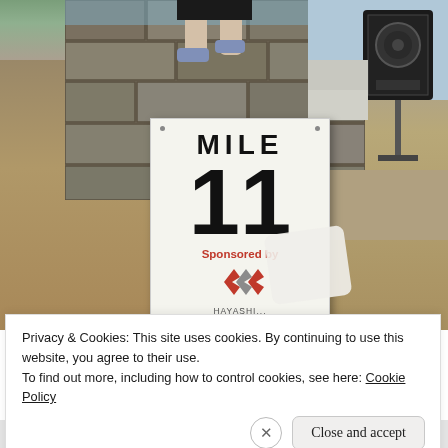[Figure (photo): Outdoor photo showing a race mile marker sign reading 'MILE 11', sponsored by Hayashi. The sign is white with bold black text. Behind it is a painted stone wall mural with a runner figure, open dirt terrain on the left, and a truck with speakers on the right.]
Privacy & Cookies: This site uses cookies. By continuing to use this website, you agree to their use.
To find out more, including how to control cookies, see here: Cookie Policy